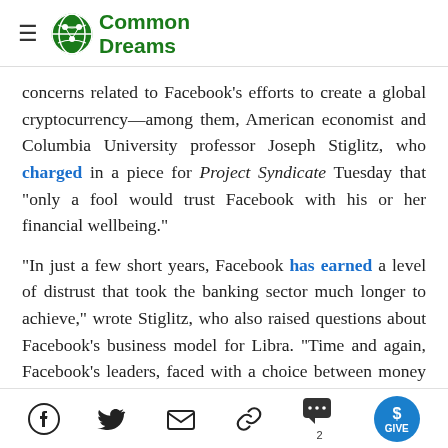Common Dreams
concerns related to Facebook's efforts to create a global cryptocurrency—among them, American economist and Columbia University professor Joseph Stiglitz, who charged in a piece for Project Syndicate Tuesday that "only a fool would trust Facebook with his or her financial wellbeing."
"In just a few short years, Facebook has earned a level of distrust that took the banking sector much longer to achieve," wrote Stiglitz, who also raised questions about Facebook's business model for Libra. "Time and again, Facebook's leaders, faced with a choice between money and honoring their promises,
Social share icons: Facebook, Twitter, Email, Link, Comments (2), Give